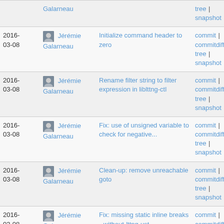| Date | Author | Commit message | Links |
| --- | --- | --- | --- |
|  | Jérémie Galarneau |  | tree | snapshot |
| 2016-03-08 | Jérémie Galarneau | Initialize command header to zero | commit | commitdiff | tree | snapshot |
| 2016-03-08 | Jérémie Galarneau | Rename filter string to filter expression in liblttng-ctl | commit | commitdiff | tree | snapshot |
| 2016-03-08 | Jérémie Galarneau | Fix: use of unsigned variable to check for negative... | commit | commitdiff | tree | snapshot |
| 2016-03-08 | Jérémie Galarneau | Clean-up: remove unreachable goto | commit | commitdiff | tree | snapshot |
| 2016-03-08 | Jérémie Galarneau | Fix: missing static inline breaks --without-lttng-ust... | commit | commitdiff | tree | |